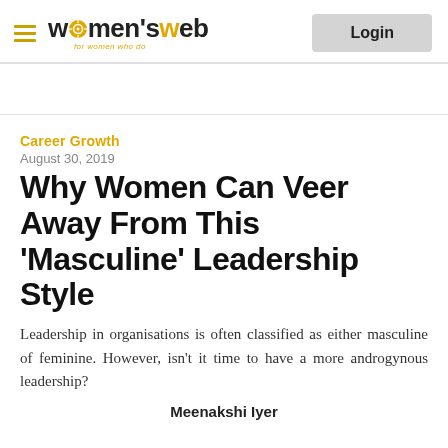women's web — Login
Career Growth
August 30, 2019
Why Women Can Veer Away From This ‘Masculine’ Leadership Style
Leadership in organisations is often classified as either masculine of feminine. However, isn't it time to have a more androgynous leadership?
Meenakshi Iyer